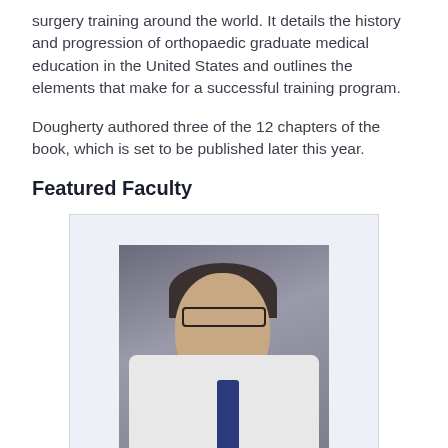surgery training around the world. It details the history and progression of orthopaedic graduate medical education in the United States and outlines the elements that make for a successful training program.
Dougherty authored three of the 12 chapters of the book, which is set to be published later this year.
Featured Faculty
[Figure (photo): Professional headshot of a middle-aged male physician wearing glasses, a white coat, and a dark blue tie, photographed against a grey background.]